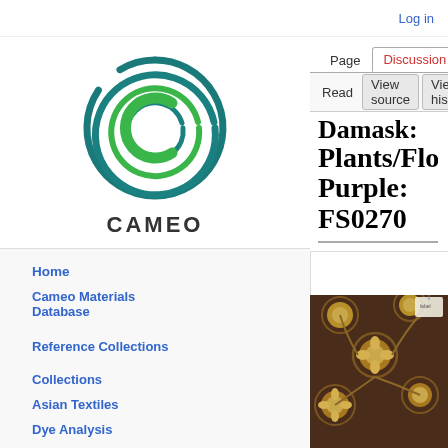Log in
[Figure (logo): CAMEO circular logo with green concentric arcs and C letterform]
Home
Cameo Materials Database
Reference Collections
Collections
Asian Textiles
Dye Analysis
Fiber Reference Image Library
Forbes Pigments
MWG
Uemura Dye Archive
Damask: Plants/Flowers: Purple: FS0270
[Figure (photo): Close-up photograph of a purple/brown damask textile with gold floral roundel pattern (chrysanthemum or peony motifs) with a small white tag visible in the upper right corner]